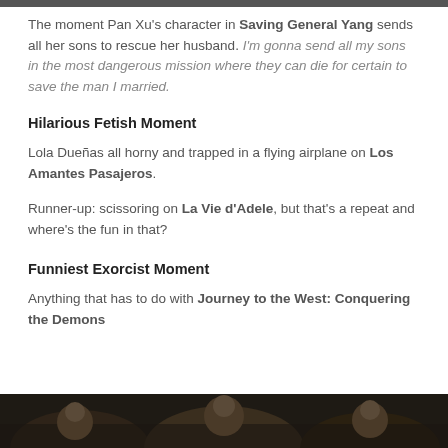The moment Pan Xu's character in Saving General Yang sends all her sons to rescue her husband. I'm gonna send all my sons in the most dangerous mission where they can die for certain to save the man I married.
Hilarious Fetish Moment
Lola Dueñas all horny and trapped in a flying airplane on Los Amantes Pasajeros.
Runner-up: scissoring on La Vie d'Adele, but that's a repeat and where's the fun in that?
Funniest Exorcist Moment
Anything that has to do with Journey to the West: Conquering the Demons
[Figure (photo): Dark photo showing people, partially visible at the bottom of the page]